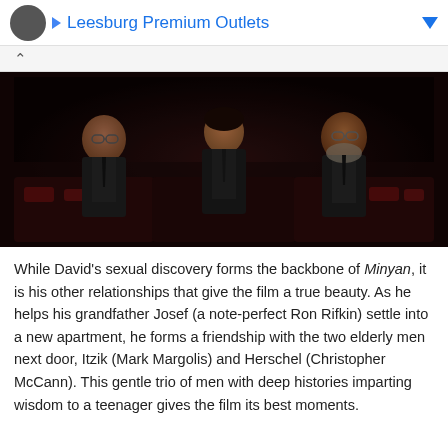Leesburg Premium Outlets
[Figure (photo): Three men in dark suits sitting in what appears to be a theater or synagogue, in a dark, moody cinematic still from the film Minyan.]
While David's sexual discovery forms the backbone of Minyan, it is his other relationships that give the film a true beauty. As he helps his grandfather Josef (a note-perfect Ron Rifkin) settle into a new apartment, he forms a friendship with the two elderly men next door, Itzik (Mark Margolis) and Herschel (Christopher McCann). This gentle trio of men with deep histories imparting wisdom to a teenager gives the film its best moments.